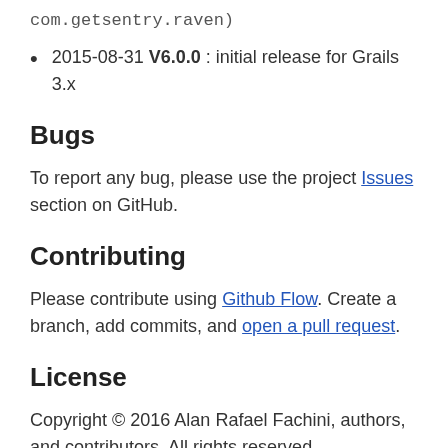com.getsentry.raven)
2015-08-31 V6.0.0 : initial release for Grails 3.x
Bugs
To report any bug, please use the project Issues section on GitHub.
Contributing
Please contribute using Github Flow. Create a branch, add commits, and open a pull request.
License
Copyright © 2016 Alan Rafael Fachini, authors, and contributors. All rights reserved.
This project is licensed under the Apache License, Version 2.0 - see the LICENSE file for